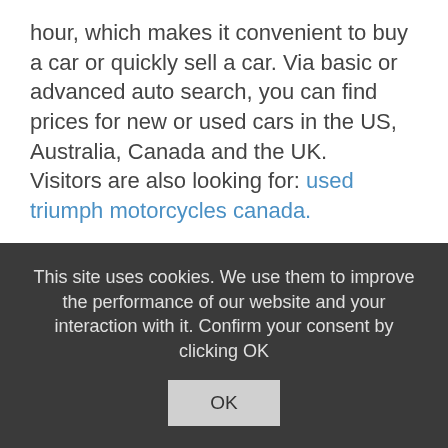hour, which makes it convenient to buy a car or quickly sell a car. Via basic or advanced auto search, you can find prices for new or used cars in the US, Australia, Canada and the UK.
Visitors are also looking for: used triumph motorcycles canada.
This site uses cookies. We use them to improve the performance of our website and your interaction with it. Confirm your consent by clicking OK